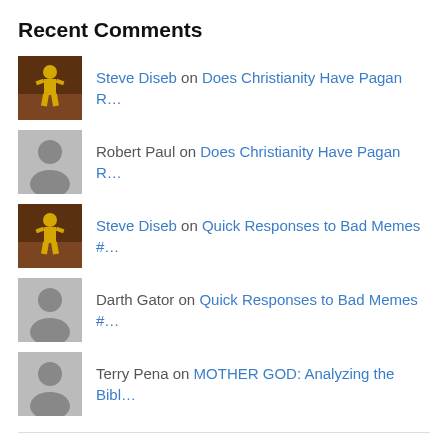Recent Comments
Steve Diseb on Does Christianity Have Pagan R…
Robert Paul on Does Christianity Have Pagan R…
Steve Diseb on Quick Responses to Bad Memes #…
Darth Gator on Quick Responses to Bad Memes #…
Terry Pena on MOTHER GOD: Analyzing the Bibl…
Archives
April 2022
August 2021